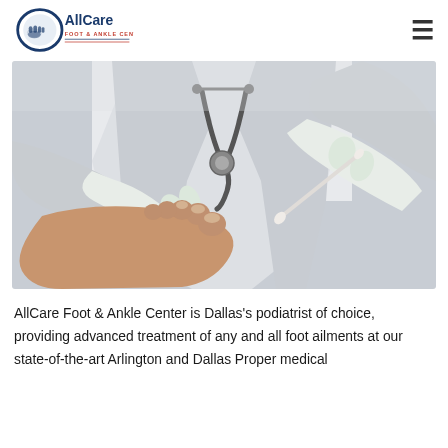AllCare Foot & Ankle Center
[Figure (photo): A doctor wearing white latex gloves examining a patient's foot, applying or swabbing between the toes with a cotton swab. The doctor wears a white lab coat and has a stethoscope around the neck. Close-up medical examination scene.]
AllCare Foot & Ankle Center is Dallas's podiatrist of choice, providing advanced treatment of any and all foot ailments at our state-of-the-art Arlington and Dallas Proper medical